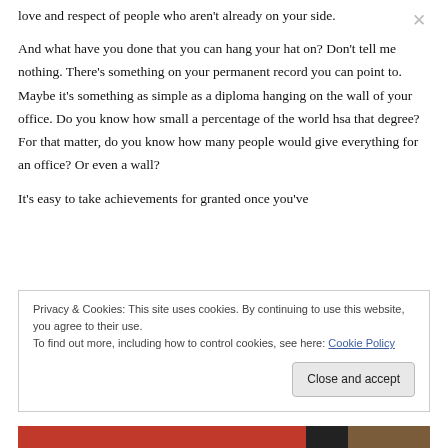love and respect of people who aren't already on your side.
And what have you done that you can hang your hat on? Don't tell me nothing. There's something on your permanent record you can point to. Maybe it's something as simple as a diploma hanging on the wall of your office. Do you know how small a percentage of the world hsa that degree? For that matter, do you know how many people would give everything for an office? Or even a wall?
It's easy to take achievements for granted once you've
Privacy & Cookies: This site uses cookies. By continuing to use this website, you agree to their use.
To find out more, including how to control cookies, see here: Cookie Policy
Close and accept